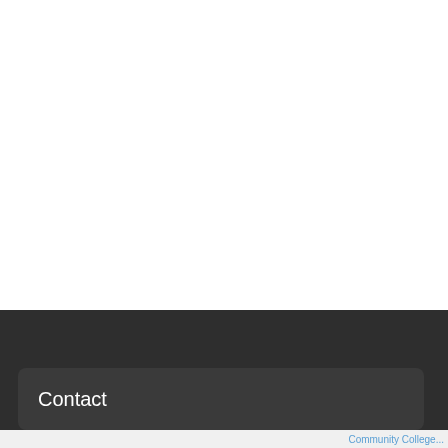[Figure (screenshot): White area occupying the upper portion of the page, representing blank content space of a website.]
Contact
Community College...